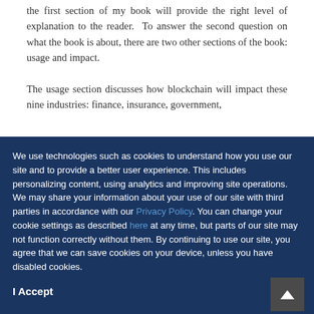the first section of my book will provide the right level of explanation to the reader.  To answer the second question on what the book is about, there are two other sections of the book: usage and impact.
The usage section discusses how blockchain will impact these nine industries: finance, insurance, government,
We use technologies such as cookies to understand how you use our site and to provide a better user experience. This includes personalizing content, using analytics and improving site operations. We may share your information about your use of our site with third parties in accordance with our Privacy Policy. You can change your cookie settings as described here at any time, but parts of our site may not function correctly without them. By continuing to use our site, you agree that we can save cookies on your device, unless you have disabled cookies.
I Accept